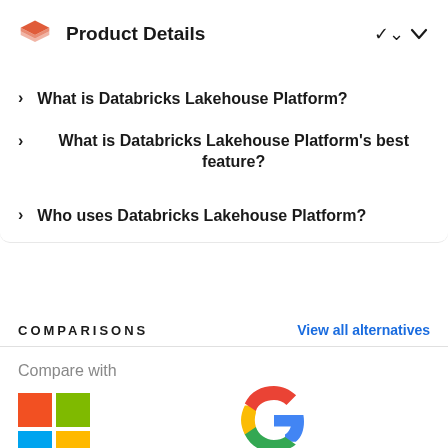Product Details
What is Databricks Lakehouse Platform?
What is Databricks Lakehouse Platform's best feature?
Who uses Databricks Lakehouse Platform?
COMPARISONS
View all alternatives
Compare with
[Figure (logo): Microsoft logo - four colored squares (red, green, blue, yellow)]
[Figure (logo): Google logo - multicolor G letter]